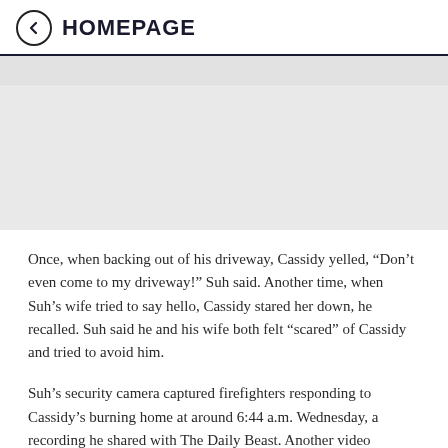← HOMEPAGE
[Figure (screenshot): Navigation bar with partial text and a red button on the right, above a gray placeholder area]
Once, when backing out of his driveway, Cassidy yelled, “Don’t even come to my driveway!” Suh said. Another time, when Suh’s wife tried to say hello, Cassidy stared her down, he recalled. Suh said he and his wife both felt “scared” of Cassidy and tried to avoid him.
Suh’s security camera captured firefighters responding to Cassidy’s burning home at around 6:44 a.m. Wednesday, a recording he shared with The Daily Beast. Another video